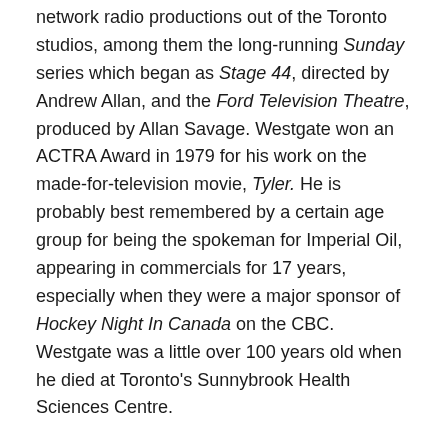network radio productions out of the Toronto studios, among them the long-running Sunday series which began as Stage 44, directed by Andrew Allan, and the Ford Television Theatre, produced by Allan Savage. Westgate won an ACTRA Award in 1979 for his work on the made-for-television movie, Tyler. He is probably best remembered by a certain age group for being the spokeman for Imperial Oil, appearing in commercials for 17 years, especially when they were a major sponsor of Hockey Night In Canada on the CBC. Westgate was a little over 100 years old when he died at Toronto's Sunnybrook Health Sciences Centre.
Features & TV Movies:
VR indicates Direct-to-Video Release
The First Time (1969)
Change of Mind (1969)